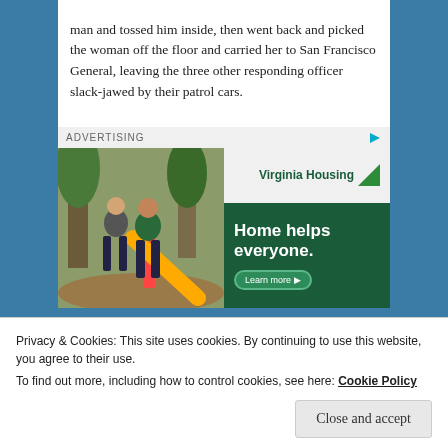man and tossed him inside, then went back and picked the woman off the floor and carried her to San Francisco General, leaving the three other responding officer slack-jawed by their patrol cars.
[Figure (illustration): Advertisement banner for Virginia Housing showing a photo of a woman and child playing on a playground slide (left half) and a dark green panel with text 'Virginia Housing', 'Home helps everyone.' and a 'Learn more' button (right half). Labeled 'ADVERTISING' at top.]
Privacy & Cookies: This site uses cookies. By continuing to use this website, you agree to their use.
To find out more, including how to control cookies, see here: Cookie Policy